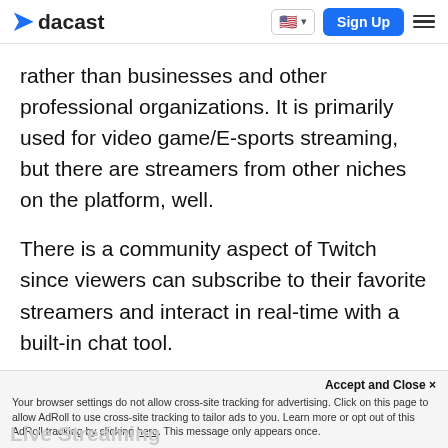dacast | Sign Up
rather than businesses and other professional organizations. It is primarily used for video game/E-sports streaming, but there are streamers from other niches on the platform, well.
There is a community aspect of Twitch since viewers can subscribe to their favorite streamers and interact in real-time with a built-in chat tool.
Accept and Close ✕
Your browser settings do not allow cross-site tracking for advertising. Click on this page to allow AdRoll to use cross-site tracking to tailor ads to you. Learn more or opt out of this AdRoll tracking by clicking here. This message only appears once.